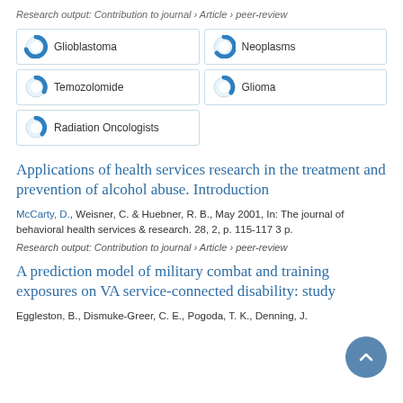Research output: Contribution to journal › Article › peer-review
[Figure (infographic): Five keyword tags with donut/circle icons: Glioblastoma (large blue fill), Neoplasms (medium blue fill), Temozolomide (small blue fill), Glioma (small blue fill), Radiation Oncologists (small blue fill)]
Applications of health services research in the treatment and prevention of alcohol abuse. Introduction
McCarty, D., Weisner, C. & Huebner, R. B., May 2001, In: The journal of behavioral health services & research. 28, 2, p. 115-117 3 p.
Research output: Contribution to journal › Article › peer-review
A prediction model of military combat and training exposures on VA service-connected disability: study
Eggleston, B., Dismuke-Greer, C. E., Pogoda, T. K., Denning, J.